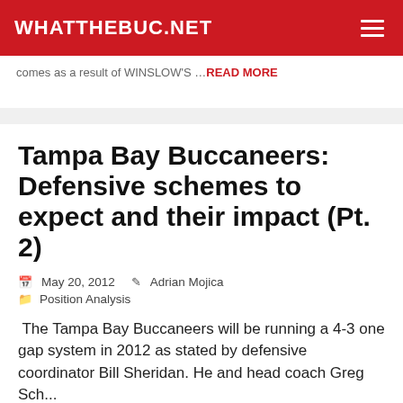WHATTHEBUC.NET
comes as a result of WINSLOW'S …READ MORE
Tampa Bay Buccaneers: Defensive schemes to expect and their impact (Pt. 2)
May 20, 2012   Adrian Mojica   Position Analysis
The Tampa Bay Buccaneers will be running a 4-3 one gap system in 2012 as stated by defensive coordinator Bill Sheridan. He and head coach Greg Schiano have also stated their intent to run a 4...